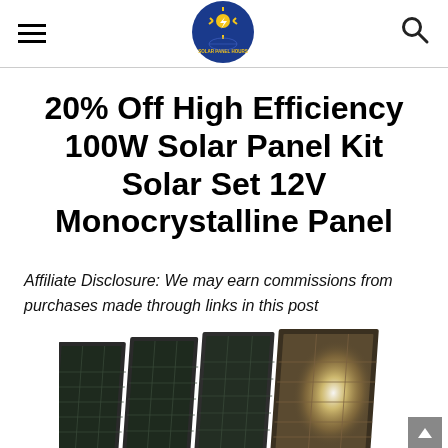[hamburger menu] [Solar Panel Hours logo] [search icon]
20% Off High Efficiency 100W Solar Panel Kit Solar Set 12V Monocrystalline Panel
Affiliate Disclosure: We may earn commissions from purchases made through links in this post
[Figure (photo): Four monocrystalline solar panels arranged side by side at a slight angle, with a bright light reflection on one panel, cropped at bottom of page]